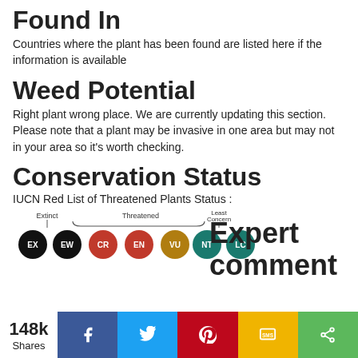Found In
Countries where the plant has been found are listed here if the information is available
Weed Potential
Right plant wrong place. We are currently updating this section. Please note that a plant may be invasive in one area but may not in your area so it's worth checking.
Conservation Status
IUCN Red List of Threatened Plants Status :
[Figure (infographic): IUCN Red List status badges showing EX (Extinct, black), EW (black), CR (red), EN (red), VU (gold), NT (teal), LC (teal), with labels Extinct, Threatened (brace over CR/EN/VU), Least Concern (over NT/LC)]
Expert comment
148k Shares